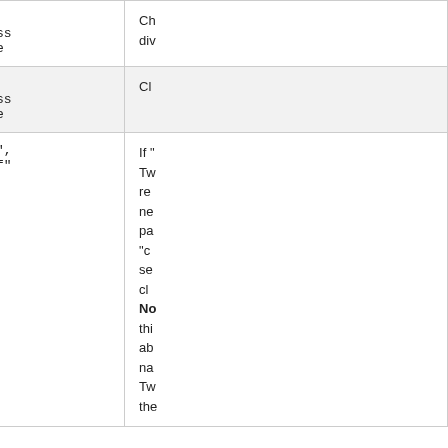| Attribute | Values | Description |
| --- | --- | --- |
| class | CSS class name | Ch... div... |
| linkclass | CSS class name | Cl... |
| remember | "on", "off" | If "... Tw... re... ne... pa... "c... se... cl... No... thi... ab... na... Tw... the... |